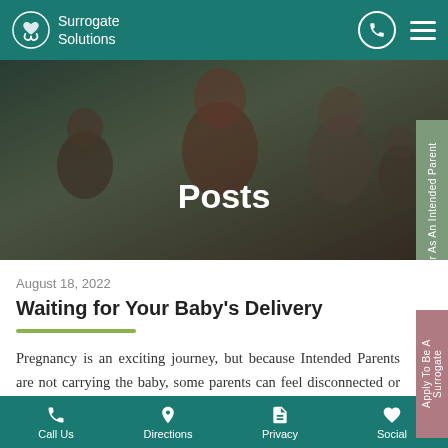Surrogate Solutions
[Figure (photo): Family photo used as hero banner with a man, woman, and two children smiling, overlaid with the title 'Posts']
Posts
August 18, 2022
Waiting for Your Baby's Delivery
Pregnancy is an exciting journey, but because Intended Parents are not carrying the baby, some parents can feel disconnected or impatient. Sharing
Call Us  Directions  Privacy  Social